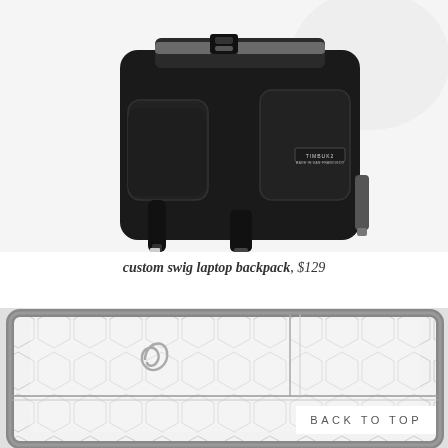MENU
[Figure (photo): Timbuk2 custom swig laptop backpack in black, shown from the back/side angle with straps and buckles visible]
custom swig laptop backpack, $129
[Figure (photo): White/grey Timbuk2 laptop sleeve with hexagonal pattern and spiral logo, shown partially open]
BACK TO TOP